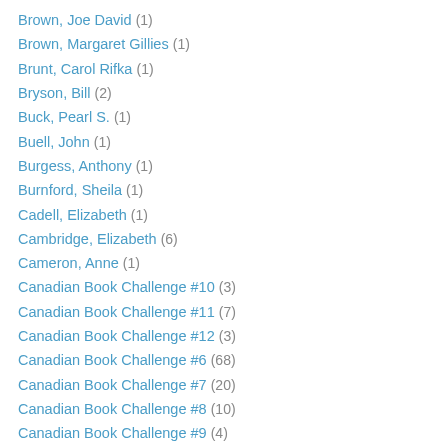Brown, Joe David (1)
Brown, Margaret Gillies (1)
Brunt, Carol Rifka (1)
Bryson, Bill (2)
Buck, Pearl S. (1)
Buell, John (1)
Burgess, Anthony (1)
Burnford, Sheila (1)
Cadell, Elizabeth (1)
Cambridge, Elizabeth (6)
Cameron, Anne (1)
Canadian Book Challenge #10 (3)
Canadian Book Challenge #11 (7)
Canadian Book Challenge #12 (3)
Canadian Book Challenge #6 (68)
Canadian Book Challenge #7 (20)
Canadian Book Challenge #8 (10)
Canadian Book Challenge #9 (4)
Canning, Victor (5)
Carswell, Catherine (1)